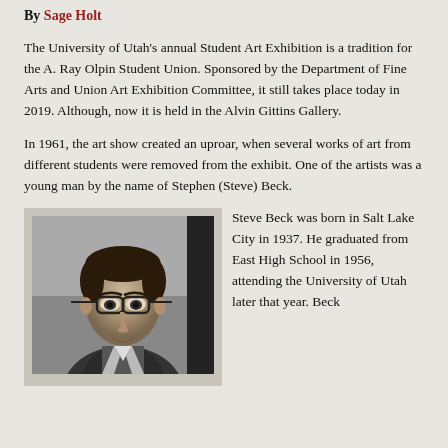By Sage Holt
The University of Utah's annual Student Art Exhibition is a tradition for the A. Ray Olpin Student Union. Sponsored by the Department of Fine Arts and Union Art Exhibition Committee, it still takes place today in 2019. Although, now it is held in the Alvin Gittins Gallery.
In 1961, the art show created an uproar, when several works of art from different students were removed from the exhibit. One of the artists was a young man by the name of Stephen (Steve) Beck.
[Figure (photo): Black and white portrait photograph of a young man wearing glasses, facing slightly to the side.]
Steve Beck was born in Salt Lake City in 1937. He graduated from East High School in 1956, attending the University of Utah later that year. Beck